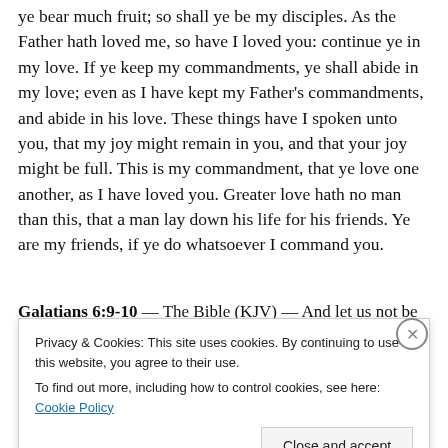ye bear much fruit; so shall ye be my disciples. As the Father hath loved me, so have I loved you: continue ye in my love. If ye keep my commandments, ye shall abide in my love; even as I have kept my Father's commandments, and abide in his love. These things have I spoken unto you, that my joy might remain in you, and that your joy might be full. This is my commandment, that ye love one another, as I have loved you. Greater love hath no man than this, that a man lay down his life for his friends. Ye are my friends, if ye do whatsoever I command you.
Galatians 6:9-10 — The Bible (KJV) — And let us not be...
Privacy & Cookies: This site uses cookies. By continuing to use this website, you agree to their use. To find out more, including how to control cookies, see here: Cookie Policy
Close and accept